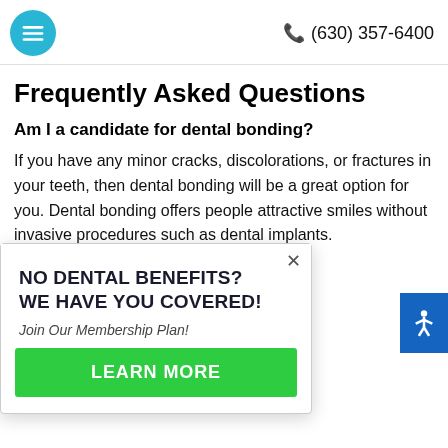☰  (630) 357-6400
Frequently Asked Questions
Am I a candidate for dental bonding?
If you have any minor cracks, discolorations, or fractures in your teeth, then dental bonding will be a great option for you. Dental bonding offers people attractive smiles without invasive procedures such as dental implants. Contact us to see if you qualify for dental bonding.
[Figure (infographic): Popup overlay: NO DENTAL BENEFITS? WE HAVE YOU COVERED! Join Our Membership Plan! LEARN MORE button. Has a close X button in upper right.]
How do I care for my dental bondings?
Teeth with dental bondings can still be stained, so to avoid this, avoid drinking tea, coffee, and sodas for at